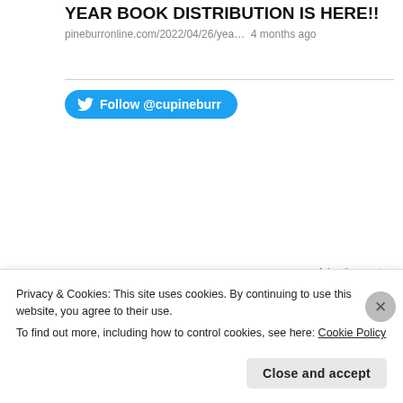YEAR BOOK DISTRIBUTION IS HERE!!
pineburronline.com/2022/04/26/yea… 4 months ago
Follow @cupineburr
Advertisements
[Figure (logo): Sensei logo: dark navy background with white circle containing a bonsai tree icon, and the word 'sensei' in white text next to it. Below is a grayscale photo of a person's lower leg/ankle.]
Privacy & Cookies: This site uses cookies. By continuing to use this website, you agree to their use.
To find out more, including how to control cookies, see here: Cookie Policy
Close and accept